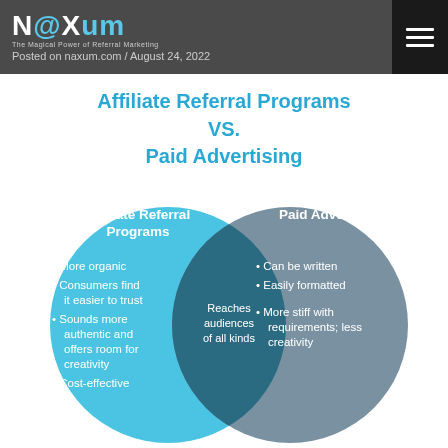NaXum – The Magical Power of Referral Marketing / August 24, 2022
Affiliate Referral Programs VS. Paid Advertising
[Figure (infographic): Venn diagram comparing Affiliate Referral Programs and Paid Advertising. Left circle (blue): Affiliate Referral Programs – More organic, Consumers find it easier to trust, Sounds more authentic and offers room for creativity, Cost-effective. Center overlap (dark teal): Reaches audiences of all kinds. Right circle (gray): Paid Advertising – Can be written, Easily formatted, More stiff with requirements; less creativity.]